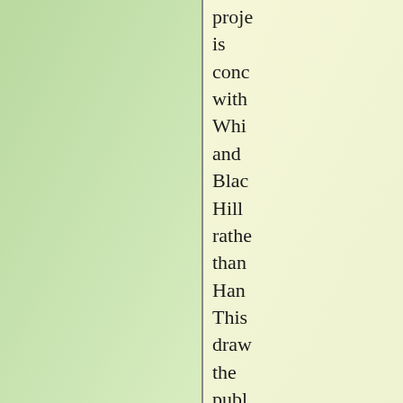proje is conc with Whi and Blac Hill rathe than Han This draw the publ atten away from the fact that digg is occu in an